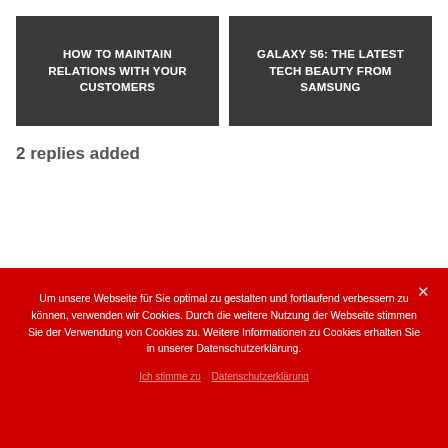[Figure (screenshot): Dark gray card with white bold uppercase text: HOW TO MAINTAIN RELATIONS WITH YOUR CUSTOMERS]
[Figure (screenshot): Dark gray card with white bold uppercase text: GALAXY S6: THE LATEST TECH BEAUTY FROM SAMSUNG]
2 replies added
Um unsere Webseite für Sie optimal zu gestalten und fortlaufend verbessern zu können, verwenden wir Cookies. Durch die weitere Nutzung der Webseite stimmen Sie der Verwendung von Cookies zu. Weitere Informationen zu Cookies erhalten Sie in unserer Datenschutzerklärung.
Ich stimme zu   Datenschutzerklärung